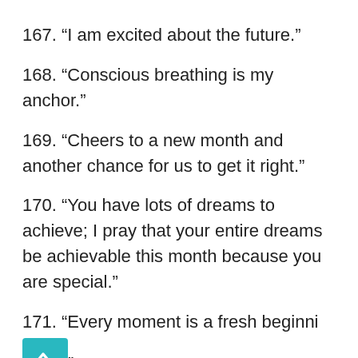167. “I am excited about the future.”
168. “Conscious breathing is my anchor.”
169. “Cheers to a new month and another chance for us to get it right.”
170. “You have lots of dreams to achieve; I pray that your entire dreams be achievable this month because you are special.”
171. “Every moment is a fresh beginning.”